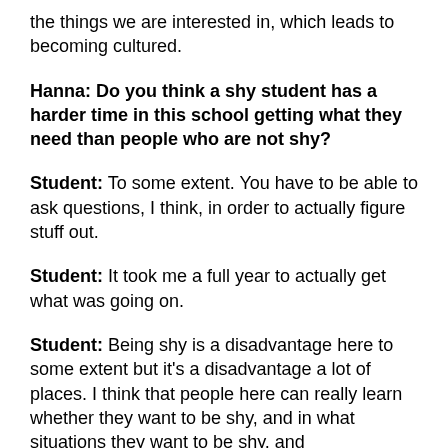the things we are interested in, which leads to becoming cultured.
Hanna: Do you think a shy student has a harder time in this school getting what they need than people who are not shy?
Student: To some extent. You have to be able to ask questions, I think, in order to actually figure stuff out.
Student: It took me a full year to actually get what was going on.
Student: Being shy is a disadvantage here to some extent but it’s a disadvantage a lot of places. I think that people here can really learn whether they want to be shy, and in what situations they want to be shy, and